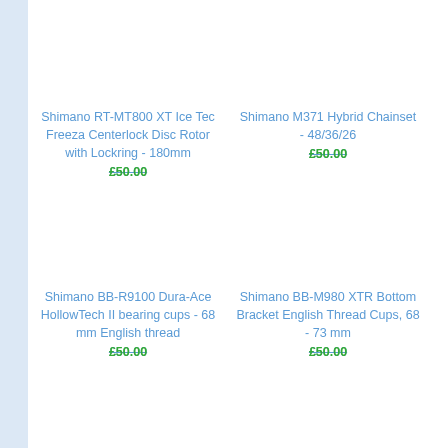[Figure (other): Product listing grid with 4 Shimano bicycle components, each showing product name and overlapping price (old crossed-out price and new green price)]
Shimano RT-MT800 XT Ice Tec Freeza Centerlock Disc Rotor with Lockring - 180mm £50.00 (old price crossed out) £50.00 (new price)
Shimano M371 Hybrid Chainset - 48/36/26 £50.00 (old) £50.00 (new)
Shimano BB-R9100 Dura-Ace HollowTech II bearing cups - 68 mm English thread £50.00 (old) £50.00 (new)
Shimano BB-M980 XTR Bottom Bracket English Thread Cups, 68 - 73 mm £50.00 (old) £50.00 (new)